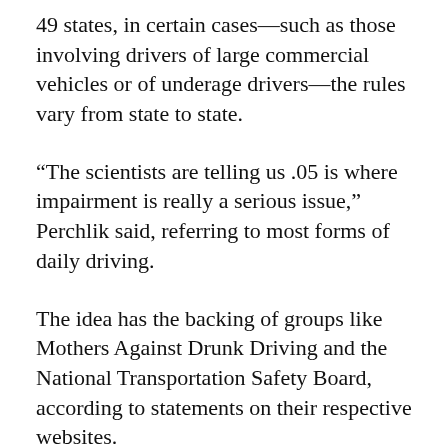49 states, in certain cases—such as those involving drivers of large commercial vehicles or of underage drivers—the rules vary from state to state.
“The scientists are telling us .05 is where impairment is really a serious issue,” Perchlik said, referring to most forms of daily driving.
The idea has the backing of groups like Mothers Against Drunk Driving and the National Transportation Safety Board, according to statements on their respective websites.
Perchlik’s colleague, Sen. Debbie Ingram, D-Chittenden County, also supports the bill.
In 2017, Ingram pled guilty to driving drunk, following an incident that did not lead to any